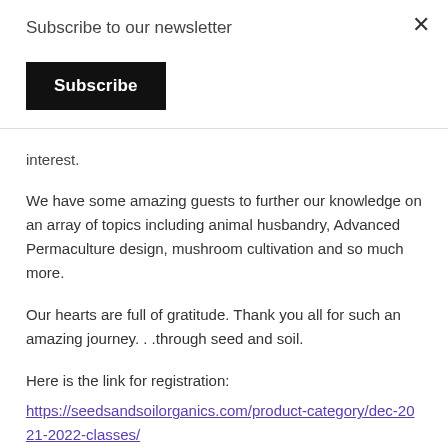Subscribe to our newsletter
Subscribe
interest.
We have some amazing guests to further our knowledge on an array of topics including animal husbandry, Advanced Permaculture design, mushroom cultivation and so much more.
Our hearts are full of gratitude. Thank you all for such an amazing journey. . .through seed and soil.
Here is the link for registration:
https://seedsandsoilorganics.com/product-category/dec-2021-2022-classes/